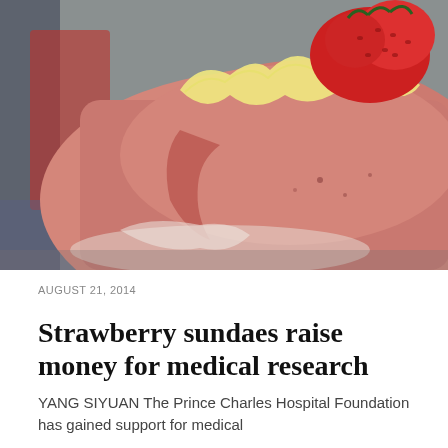[Figure (photo): Close-up photo of a strawberry cake with pink frosting, whipped cream, and a large red strawberry on top. A piece appears to have been cut. Background is blurred with red and grey tones.]
AUGUST 21, 2014
Strawberry sundaes raise money for medical research
YANG SIYUAN The Prince Charles Hospital Foundation has gained support for medical